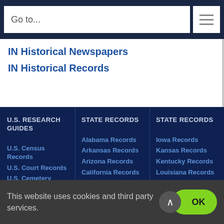Go to...
IN Historical Newspapers
IN Historical Records
U.S. RESEARCH GUIDES
U.S. Census Records
U.S. Court Records
U.S. Cemetery Records
U.S. Church Records
U.S. Land Records
STATE RECORDS
Alabama Records
Arkansas Records
Arizona Records
California Records
Colorado Records
Connecticut Records
STATE RECORDS
Iowa Records
Kansas Records
Kentucky Records
Louisiana Records
Maine Records
Massachusetts Records
Maryland Records
This website uses cookies and third party services. OK